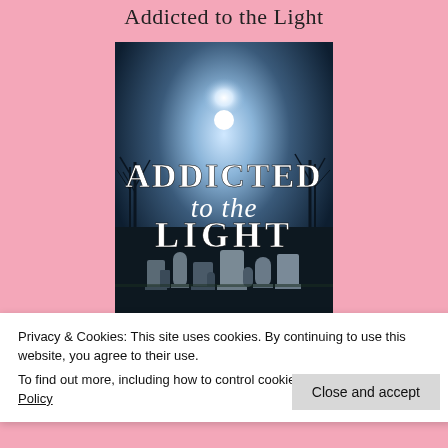Addicted to the Light
[Figure (illustration): Book cover for 'Addicted to the Light' showing a dark, moonlit cemetery with gravestones and bare trees. The title text reads 'ADDICTED to the LIGHT' in large serif letters with a bright glowing light source behind the title text.]
Privacy & Cookies: This site uses cookies. By continuing to use this website, you agree to their use.
To find out more, including how to control cookies, see here: Cookie Policy
Close and accept